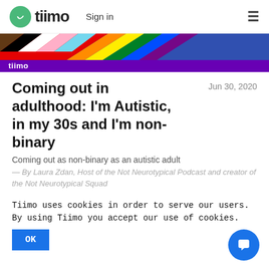tiimo — Sign in
[Figure (illustration): Tiimo pride banner with diagonal rainbow/progress pride stripes in red, orange, yellow, green, blue, purple, brown, black, white, pink, light blue with 'tiimo' label on purple background]
Coming out in adulthood: I'm Autistic, in my 30s and I'm non-binary
Jun 30, 2020
Coming out as non-binary as an autistic adult
— By Laura Zdan, Host of the Not Neurotypical Podcast and creator of the Not Neurotypical Squad
Tiimo uses cookies in order to serve our users. By using Tiimo you accept our use of cookies.
OK